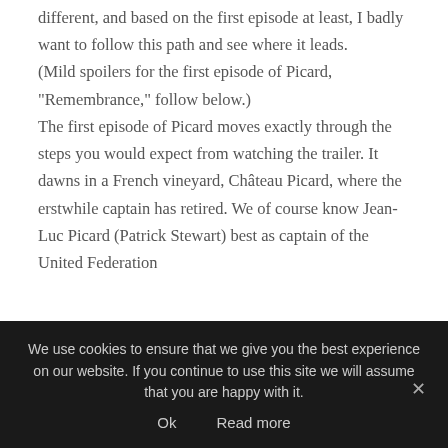different, and based on the first episode at least, I badly want to follow this path and see where it leads.
(Mild spoilers for the first episode of Picard, "Remembrance," follow below.)
The first episode of Picard moves exactly through the steps you would expect from watching the trailer. It dawns in a French vineyard, Château Picard, where the erstwhile captain has retired. We of course know Jean-Luc Picard (Patrick Stewart) best as captain of the United Federation
We use cookies to ensure that we give you the best experience on our website. If you continue to use this site we will assume that you are happy with it.
Ok   Read more